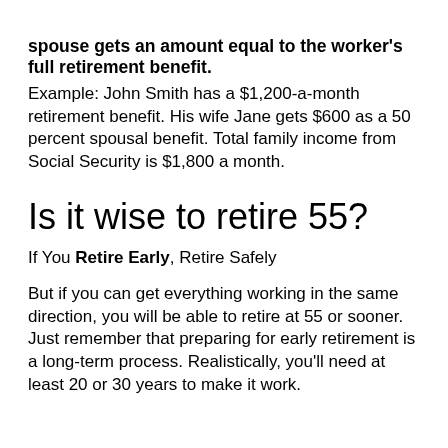spouse gets an amount equal to the worker's full retirement benefit. Example: John Smith has a $1,200-a-month retirement benefit. His wife Jane gets $600 as a 50 percent spousal benefit. Total family income from Social Security is $1,800 a month.
Is it wise to retire 55?
If You Retire Early, Retire Safely
But if you can get everything working in the same direction, you will be able to retire at 55 or sooner. Just remember that preparing for early retirement is a long-term process. Realistically, you'll need at least 20 or 30 years to make it work.